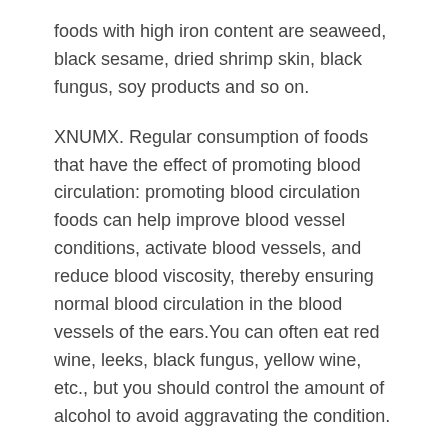foods with high iron content are seaweed, black sesame, dried shrimp skin, black fungus, soy products and so on.
XNUMX. Regular consumption of foods that have the effect of promoting blood circulation: promoting blood circulation foods can help improve blood vessel conditions, activate blood vessels, and reduce blood viscosity, thereby ensuring normal blood circulation in the blood vessels of the ears.You can often eat red wine, leeks, black fungus, yellow wine, etc., but you should control the amount of alcohol to avoid aggravating the condition.
XNUMX. Change bad habits: Smoking and drinking too much can aggravate the condition of tinnitus.At the same time, a diet high in fat and sugar will increase blood viscosity, so eat less.At the same time, attention should be paid to the rational use of drugs, as some drugs have toxic effects on ear organs.When seeing a doctor for other diseases, you should also explain your